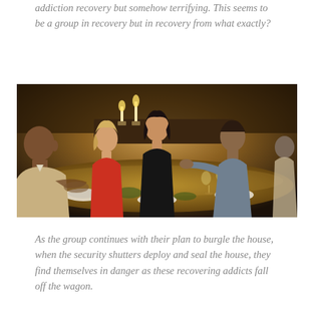addiction recovery but somehow terrifying. This seems to be a group in recovery but in recovery from what exactly?
[Figure (photo): A dimly lit dinner party scene with several people seated around a formal dining table. The table has candles, wine glasses, and a white centerpiece. A bald man in a beige suit sits on the left, a woman in red sits next to him, a woman in black sits at the head of the table, and a man in a grey shirt sits on the right.]
As the group continues with their plan to burgle the house, when the security shutters deploy and seal the house, they find themselves in danger as these recovering addicts fall off the wagon.